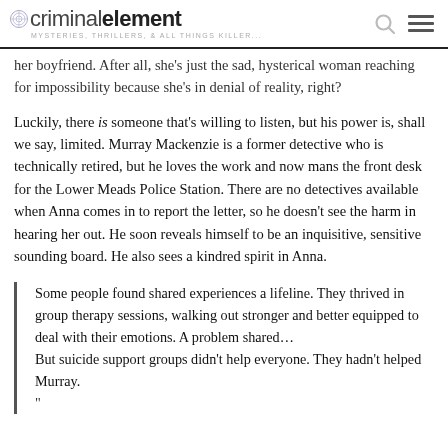criminalelement — MYSTERIES, THRILLERS, & ALL THINGS KILLER...
her boyfriend. After all, she's just the sad, hysterical woman reaching for impossibility because she's in denial of reality, right?
Luckily, there is someone that's willing to listen, but his power is, shall we say, limited. Murray Mackenzie is a former detective who is technically retired, but he loves the work and now mans the front desk for the Lower Meads Police Station. There are no detectives available when Anna comes in to report the letter, so he doesn't see the harm in hearing her out. He soon reveals himself to be an inquisitive, sensitive sounding board. He also sees a kindred spirit in Anna.
Some people found shared experiences a lifeline. They thrived in group therapy sessions, walking out stronger and better equipped to deal with their emotions. A problem shared…
But suicide support groups didn't help everyone. They hadn't helped Murray.